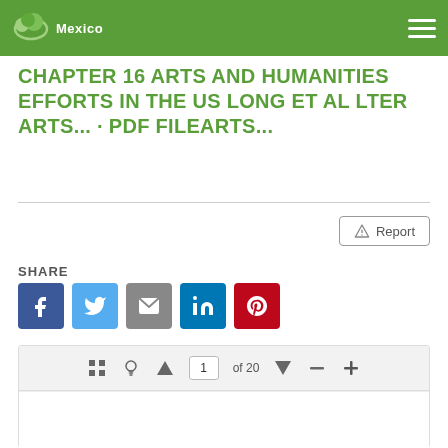Mexico
CHAPTER 16 ARTS AND HUMANITIES EFFORTS IN THE US LONG ET AL LTER ARTS... · PDF FILEARTS...
Report
SHARE
[Figure (screenshot): Social share buttons: Facebook, Twitter, Email, LinkedIn, Pinterest]
[Figure (screenshot): PDF viewer toolbar showing page 1 of 20 with navigation controls (grid, lightbulb, up arrow, page input, down arrow, minus, plus) and a white document preview area below]